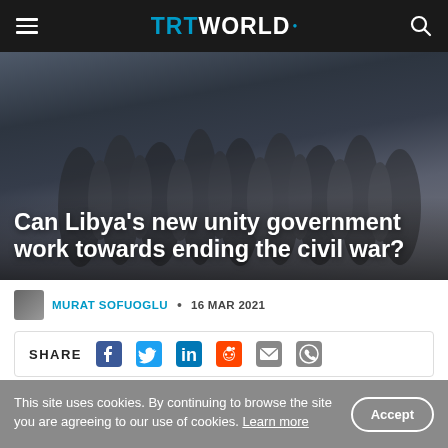TRT WORLD
[Figure (photo): Blurred group of people standing together, used as hero background image for article about Libya's unity government]
Can Libya’s new unity government work towards ending the civil war?
MURAT SOFUOGLU • 16 MAR 2021
SHARE [social icons: Facebook, Twitter, LinkedIn, Reddit, Email, WhatsApp]
This site uses cookies. By continuing to browse the site you are agreeing to our use of cookies. Learn more